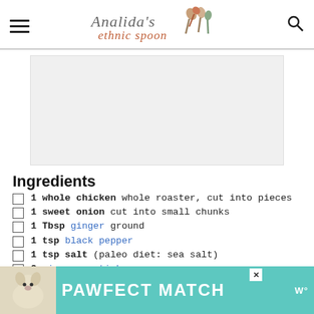Analida's ethnic spoon
[Figure (other): Advertisement placeholder block (gray rectangle)]
Ingredients
1 whole chicken whole roaster, cut into pieces
1 sweet onion cut into small chunks
1 Tbsp ginger ground
1 tsp black pepper
1 tsp salt (paleo diet: sea salt)
2 cinnamon stick
[Figure (other): Bottom advertisement banner: PAWFECT MATCH with dog image on teal background]